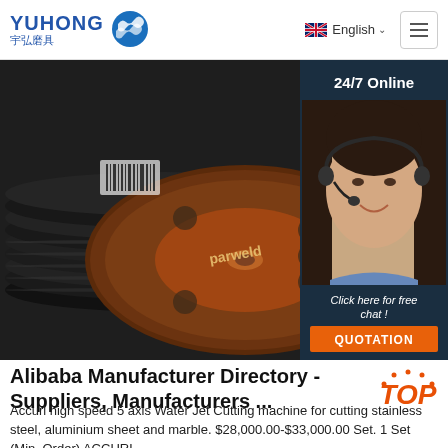YUHONG 宇弘磨具 | English
[Figure (photo): Stack of Parweld brand abrasive/grinding discs photographed close up, dark background; right side shows a customer service agent (woman with headset) with '24/7 Online' label, 'Click here for free chat!' text, and an orange QUOTATION button, on a dark navy background panel]
Alibaba Manufacturer Directory - Suppliers, Manufacturers ...
Accurl high speed 5 axis Water Jet Cutting machine for cutting stainless steel, aluminium sheet and marble. $28,000.00-$33,000.00 Set. 1 Set (Min. Order) ACCURL